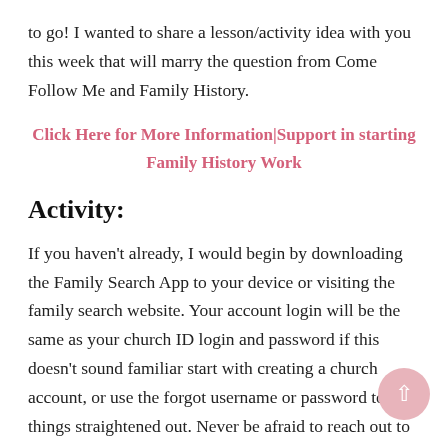to go! I wanted to share a lesson/activity idea with you this week that will marry the question from Come Follow Me and Family History.
Click Here for More Information|Support in starting Family History Work
Activity:
If you haven't already, I would begin by downloading the Family Search App to your device or visiting the family search website. Your account login will be the same as your church ID login and password if this doesn't sound familiar start with creating a church account, or use the forgot username or password to get things straightened out. Never be afraid to reach out to a ward clerk, or Family History Consultant, all the support in the